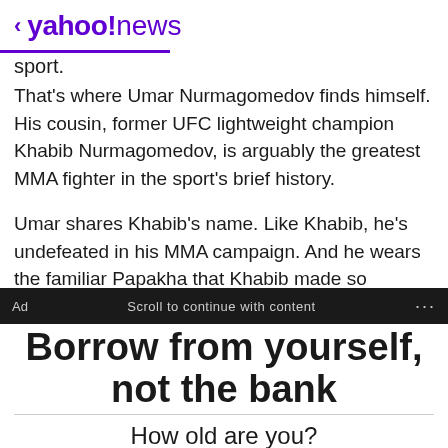< yahoo!news
sport.
That's where Umar Nurmagomedov finds himself. His cousin, former UFC lightweight champion Khabib Nurmagomedov, is arguably the greatest MMA fighter in the sport's brief history.
Umar shares Khabib's name. Like Khabib, he's undefeated in his MMA campaign. And he wears the familiar Papakha that Khabib made so famous in MMA circles.
[Figure (screenshot): Ad banner: dark background bar with 'Ad', 'Scroll to continue with content', and '...' on a black strip, followed by large bold text 'Borrow from yourself, not the bank']
How old are you?